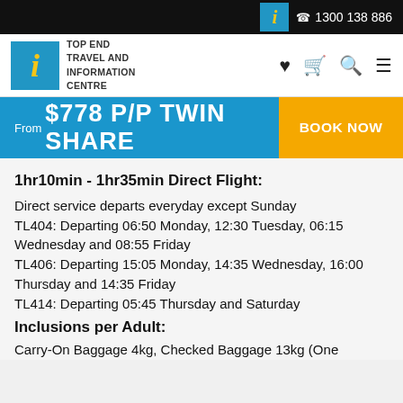1300 138 886
[Figure (logo): Top End Travel and Information Centre logo with blue box and yellow italic i]
From $778 P/P TWIN SHARE
BOOK NOW
1hr10min - 1hr35min Direct Flight:
Direct service departs everyday except Sunday
TL404: Departing 06:50 Monday, 12:30 Tuesday, 06:15 Wednesday and 08:55 Friday
TL406: Departing 15:05 Monday, 14:35 Wednesday, 16:00 Thursday and 14:35 Friday
TL414: Departing 05:45 Thursday and Saturday
Inclusions per Adult:
Carry-On Baggage 4kg, Checked Baggage 13kg (One